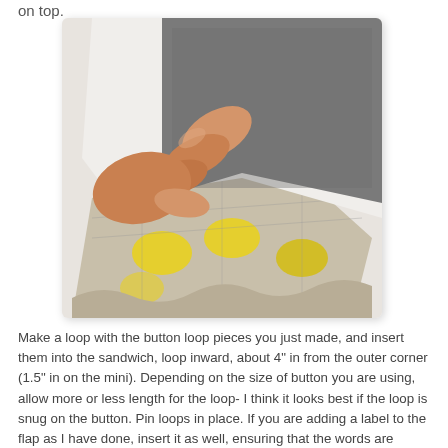on top.
[Figure (photo): A hand holding layered fabric pieces including white fabric, gray felt, and a patterned fabric with yellow dots on a light background, showing the sandwich construction technique.]
Make a loop with the button loop pieces you just made, and insert them into the sandwich, loop inward, about 4" in from the outer corner (1.5" in on the mini). Depending on the size of button you are using, allow more or less length for the loop- I think it looks best if the loop is snug on the button. Pin loops in place. If you are adding a label to the flap as I have done, insert it as well, ensuring that the words are facing towards the outer fabric and not the lining.
[Figure (photo): Partial view of fabric or paper with a dark pen or tool visible, showing a craft surface.]